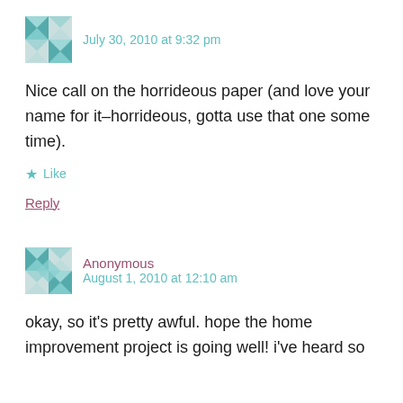July 30, 2010 at 9:32 pm
Nice call on the horrideous paper (and love your name for it–horrideous, gotta use that one some time).
Like
Reply
Anonymous
August 1, 2010 at 12:10 am
okay, so it's pretty awful. hope the home improvement project is going well! i've heard so